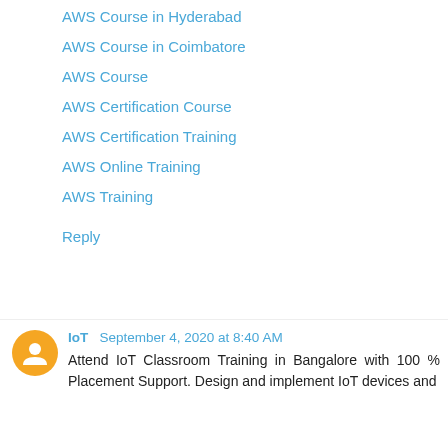AWS Course in Hyderabad
AWS Course in Coimbatore
AWS Course
AWS Certification Course
AWS Certification Training
AWS Online Training
AWS Training
Reply
IoT  September 4, 2020 at 8:40 AM
Attend IoT Classroom Training in Bangalore with 100 % Placement Support. Design and implement IoT devices and